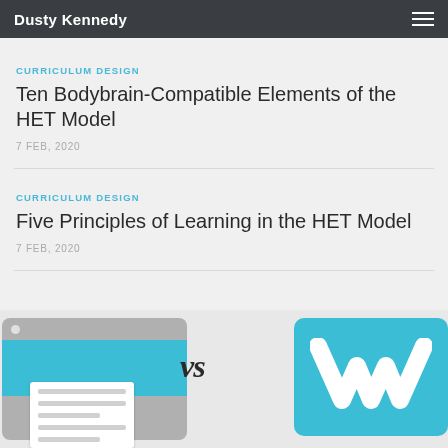Dusty Kennedy
CURRICULUM DESIGN
Ten Bodybrain-Compatible Elements of the HET Model
7 FEB, 2020
CURRICULUM DESIGN
Five Principles of Learning in the HET Model
7 FEB, 2020
[Figure (illustration): Illustration showing a browser/landing page icon on the left, 'vs' text in the center, and a Weebly 'W' logo icon on the right, on a light gray background]